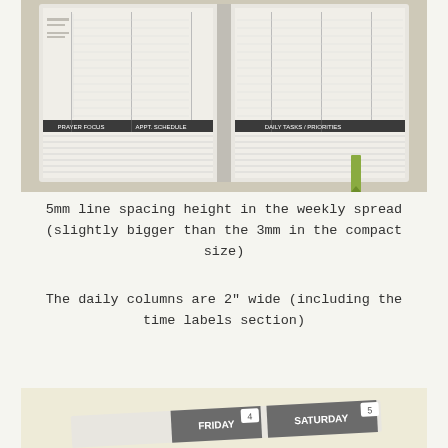[Figure (photo): Open planner/journal showing a weekly spread with multiple daily columns, ruled lines with 5mm spacing, and section headers in dark bands. A green ribbon bookmark is visible.]
5mm line spacing height in the weekly spread (slightly bigger than the 3mm in the compact size)
The daily columns are 2″ wide (including the time labels section)
[Figure (photo): Close-up of a planner showing day header tabs labeled FRIDAY and SATURDAY with date numbers 4 and 5 visible, on a cream/beige background.]